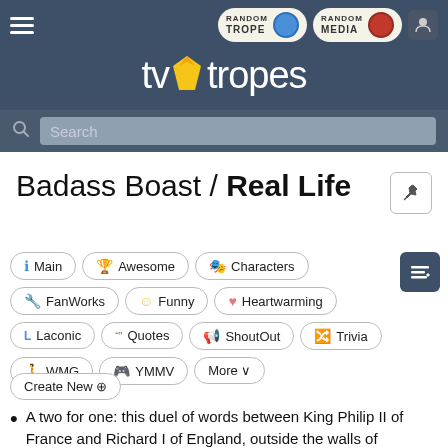TV Tropes - Badass Boast / Real Life
Badass Boast / Real Life
Main | Awesome | Characters | FanWorks | Funny | Heartwarming | Laconic | Quotes | ShoutOut | Trivia | WMG | YMMV | More | Create New
A two for one: this duel of words between King Philip II of France and Richard I of England, outside the walls of